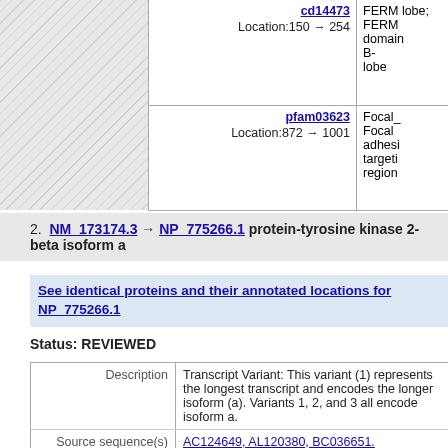| Location | Description |
| --- | --- |
| cd14473
Location:150 → 254 | FERM lobe; FERM domain B-lobe |
| pfam03623
Location:872 → 1001 | Focal_ Focal adhesion targeting region |
2. NM_173174.3 → NP_775266.1 protein-tyrosine kinase 2-beta isoform a
See identical proteins and their annotated locations for NP_775266.1
Status: REVIEWED
| Field | Value |
| --- | --- |
| Description | Transcript Variant: This variant (1) represents the longest transcript and encodes the longer isoform (a). Variants 1, 2, and 3 all encode isoform a. |
| Source sequence(s) | AC124649, AL120380, BC036651. BM712234, BQ009032, U33284 |
| Consensus CDS | CCDS6057.1 |